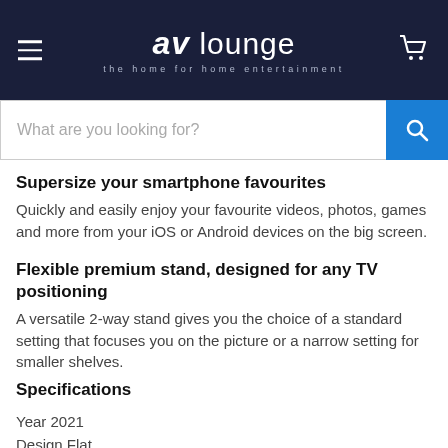av lounge – the home for home entertainment
Supersize your smartphone favourites
Quickly and easily enjoy your favourite videos, photos, games and more from your iOS or Android devices on the big screen.
Flexible premium stand, designed for any TV positioning
A versatile 2-way stand gives you the choice of a standard setting that focuses you on the picture or a narrow setting for smaller shelves.
Specifications
Year 2021
Design Flat